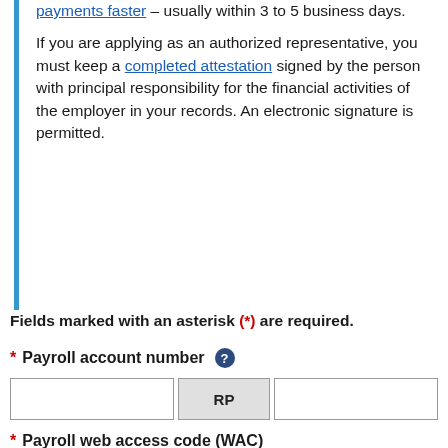payments faster – usually within 3 to 5 business days.
If you are applying as an authorized representative, you must keep a completed attestation signed by the person with principal responsibility for the financial activities of the employer in your records. An electronic signature is permitted.
Fields marked with an asterisk (*) are required.
* Payroll account number
* Payroll web access code (WAC)